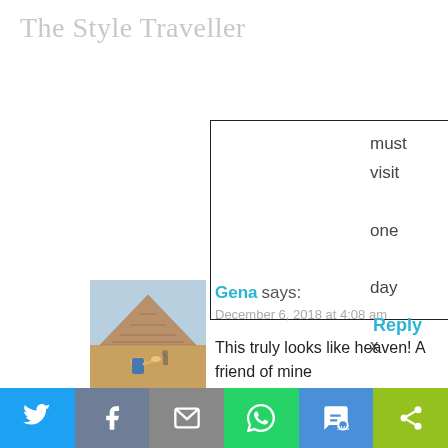The Style Traveller
must
visit
one
day
x
Reply
[Figure (photo): Photo of a pyramid (Chichen Itza) with a person in foreground under blue sky]
Gena says:
December 6, 2018 at 4:08 am
This truly looks like heaven! A friend of mine
[Figure (infographic): Social share bar with Twitter, Facebook, Email, WhatsApp, SMS, ShareThis buttons]